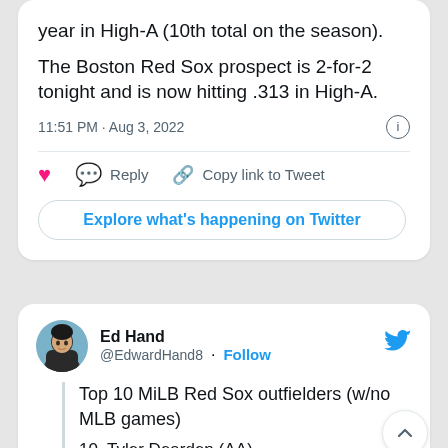year in High-A (10th total on the season).
The Boston Red Sox prospect is 2-for-2 tonight and is now hitting .313 in High-A.
11:51 PM · Aug 3, 2022
Reply   Copy link to Tweet
Explore what's happening on Twitter
Ed Hand @EdwardHand8 · Follow
Top 10 MiLB Red Sox outfielders (w/no MLB games)
10. Tyler Dearden (AA)